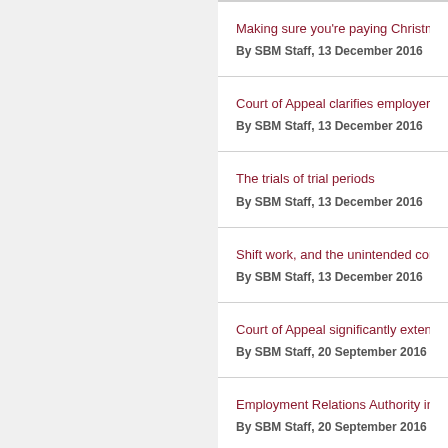Making sure you're paying Christmas Holidays c…
By SBM Staff, 13 December 2016
Court of Appeal clarifies employer obligations in c…
By SBM Staff, 13 December 2016
The trials of trial periods
By SBM Staff, 13 December 2016
Shift work, and the unintended consequences of…
By SBM Staff, 13 December 2016
Court of Appeal significantly extends obligations…
By SBM Staff, 20 September 2016
Employment Relations Authority increases daily…
By SBM Staff, 20 September 2016